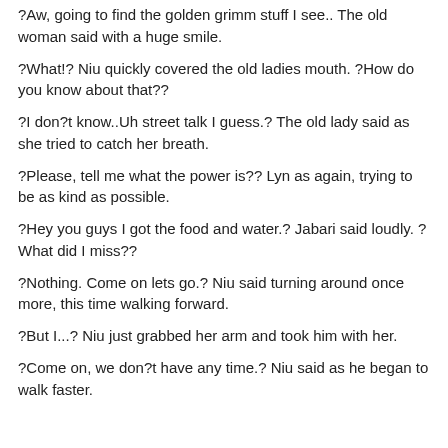?Aw, going to find the golden grimm stuff I see.. The old woman said with a huge smile.
?What!? Niu quickly covered the old ladies mouth. ?How do you know about that??
?I don?t know..Uh street talk I guess.? The old lady said as she tried to catch her breath.
?Please, tell me what the power is?? Lyn as again, trying to be as kind as possible.
?Hey you guys I got the food and water.? Jabari said loudly. ?What did I miss??
?Nothing. Come on lets go.? Niu said turning around once more, this time walking forward.
?But I...? Niu just grabbed her arm and took him with her.
?Come on, we don?t have any time.? Niu said as he began to walk faster.